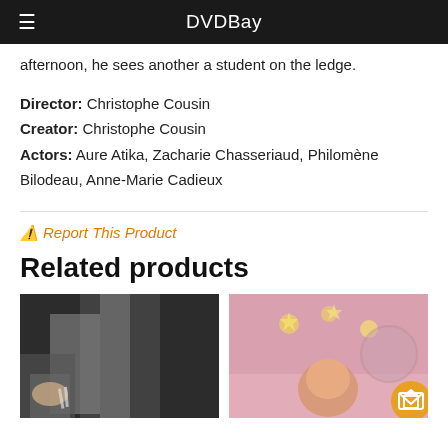DVDBay
afternoon, he sees another a student on the ledge.
Director: Christophe Cousin
Creator: Christophe Cousin
Actors: Aure Atika, Zacharie Chasseriaud, Philomène Bilodeau, Anne-Marie Cadieux
⚠ Report This Product
Related products
[Figure (photo): Black and white photo showing a person and what appears to be curtains or draping]
[Figure (photo): Photo with pink background showing a child's room, with an orange envelope/mail button overlay]